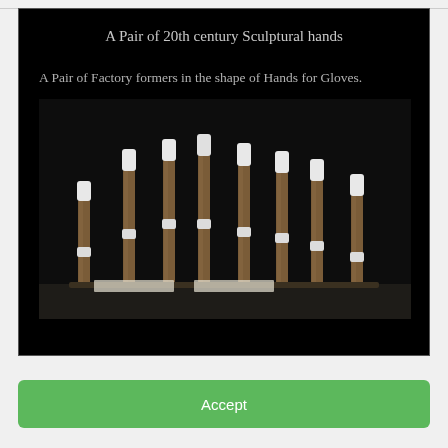A Pair of 20th century Sculptural hands
A Pair of Factory formers in the shape of Hands for Gloves.
[Figure (photo): Photograph of factory formers – elongated rod-shaped tools with white tips representing finger formers for glove manufacturing, arranged in a row against a dark background.]
We use cookies on this website to personalise content and analyse traffic. To use the website as intended, please...
Accept